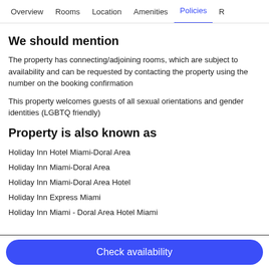Overview  Rooms  Location  Amenities  Policies  R
We should mention
The property has connecting/adjoining rooms, which are subject to availability and can be requested by contacting the property using the number on the booking confirmation
This property welcomes guests of all sexual orientations and gender identities (LGBTQ friendly)
Property is also known as
Holiday Inn Hotel Miami-Doral Area
Holiday Inn Miami-Doral Area
Holiday Inn Miami-Doral Area Hotel
Holiday Inn Express Miami
Holiday Inn Miami - Doral Area Hotel Miami
Check availability